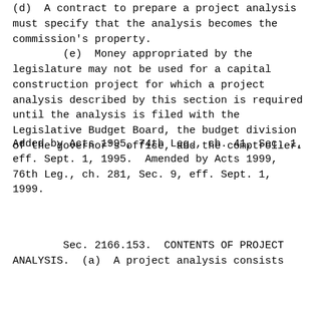(d)  A contract to prepare a project analysis must specify that the analysis becomes the commission's property.
        (e)  Money appropriated by the legislature may not be used for a capital construction project for which a project analysis described by this section is required until the analysis is filed with the Legislative Budget Board, the budget division of the governor's office, and the comptroller.
Added by Acts 1995, 74th Leg., ch. 41, Sec. 1, eff. Sept. 1, 1995.  Amended by Acts 1999, 76th Leg., ch. 281, Sec. 9, eff. Sept. 1, 1999.
Sec. 2166.153.  CONTENTS OF PROJECT ANALYSIS.  (a)  A project analysis consists